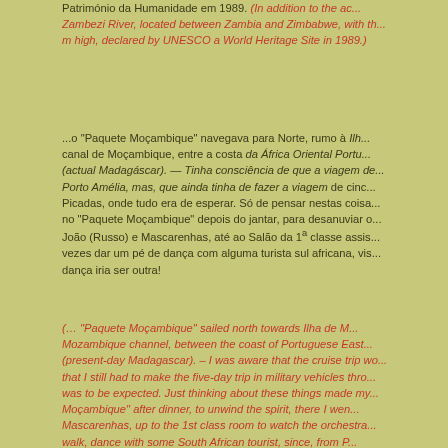Património da Humanidade em 1989. (In addition to the actual Zambezi River, located between Zambia and Zimbabwe, with the ... m high, declared by UNESCO a World Heritage Site in 1989.)
...o "Paquete Moçambique" navegava para Norte, rumo à Ilha de Moçambique, canal de Moçambique, entre a costa da África Oriental Portuguesa (actual Madagáscar). — Tinha consciência de que a viagem de Porto Amélia, mas, que ainda tinha de fazer a viagem de cinco dias pelas Picadas, onde tudo era de esperar. Só de pensar nestas coisas ia ao bar no "Paquete Moçambique" depois do jantar, para desanuviar o espírito, João (Russo) e Mascarenhas, até ao Salão da 1ª classe assistir à orquestra, vezes dar um pé de dança com alguma turista sul africana, visto que de Portugal a dança iria ser outra!
(... "Paquete Moçambique" sailed north towards Ilha de Moçambique, Mozambique channel, between the coast of Portuguese East Africa (present-day Madagascar). – I was aware that the cruise trip wo... that I still had to make the five-day trip in military vehicles thro... was to be expected. Just thinking about these things made my... Moçambique" after dinner, to unwind the spirit, there I wen... Mascarenhas, up to the 1st class room to watch the orchestra... walk, dance with some South African tourist, since, from P...